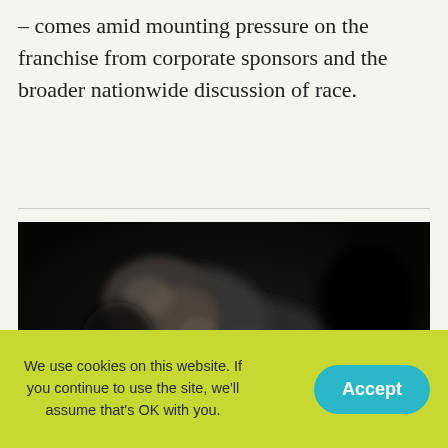– comes amid mounting pressure on the franchise from corporate sponsors and the broader nationwide discussion of race.
[Figure (photo): Dark, blurry photograph of an animal (appears to be a rodent or small mammal) against a very dark background]
We use cookies on this website. If you continue to use the site, we'll assume that's OK with you.